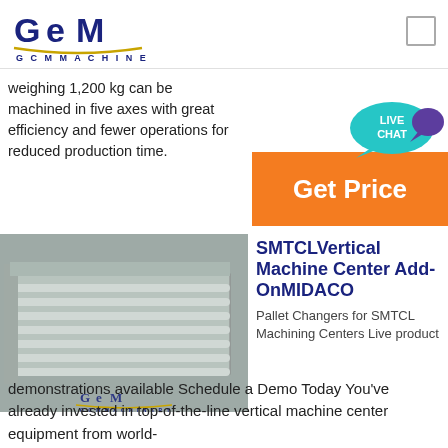[Figure (logo): GCM Machinery logo with stylized GEM text and gold underline]
weighing 1,200 kg can be machined in five axes with great efficiency and fewer operations for reduced production time.
[Figure (other): Live Chat bubble icon]
[Figure (other): Get Price orange button]
[Figure (photo): Photo of a metal conveyor/roller pallet changer unit with GCM Machinery logo watermark]
SMTCLVertical Machine Center Add-OnMIDACO
Pallet Changers for SMTCL Machining Centers Live product
demonstrations available Schedule a Demo Today You've already invested in top-of-the-line vertical machine center equipment from world-